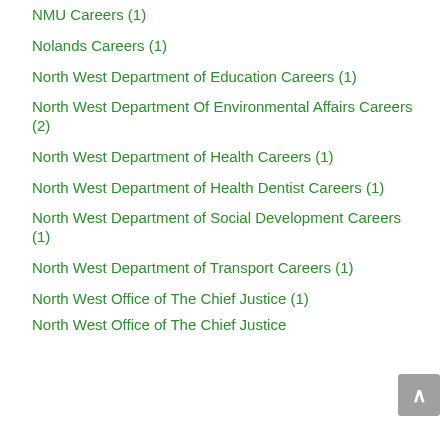NMU Careers (1)
Nolands Careers (1)
North West Department of Education Careers (1)
North West Department Of Environmental Affairs Careers (2)
North West Department of Health Careers (1)
North West Department of Health Dentist Careers (1)
North West Department of Social Development Careers (1)
North West Department of Transport Careers (1)
North West Office of The Chief Justice (1)
North West Office of The Chief Justice...